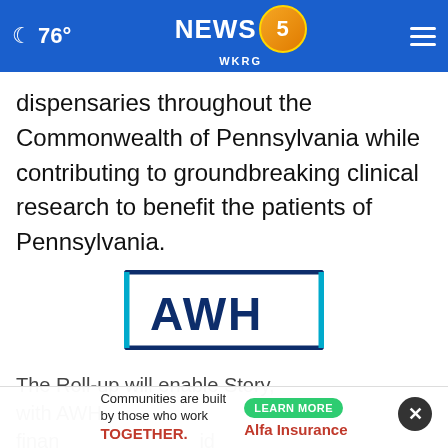76° NEWS 5 WKRG
dispensaries throughout the Commonwealth of Pennsylvania while contributing to groundbreaking clinical research to benefit the patients of Pennsylvania.
[Figure (logo): AWH logo — dark navy and cyan blue bracket design with letters AWH inside a rectangular border]
The Roll-up will enable Story, with AWH finan id build to for 100,000...
Communities are built by those who work TOGETHER.
[Figure (logo): Alfa Insurance advertisement with LEARN MORE button]